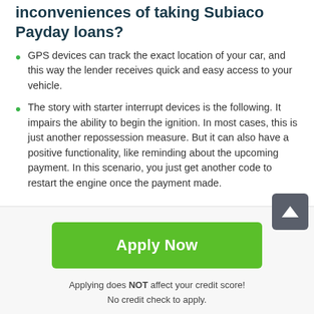inconveniences of taking Subiaco Payday loans?
GPS devices can track the exact location of your car, and this way the lender receives quick and easy access to your vehicle.
The story with starter interrupt devices is the following. It impairs the ability to begin the ignition. In most cases, this is just another repossession measure. But it can also have a positive functionality, like reminding about the upcoming payment. In this scenario, you just get another code to restart the engine once the payment made.
Apply Now
Applying does NOT affect your credit score!
No credit check to apply.